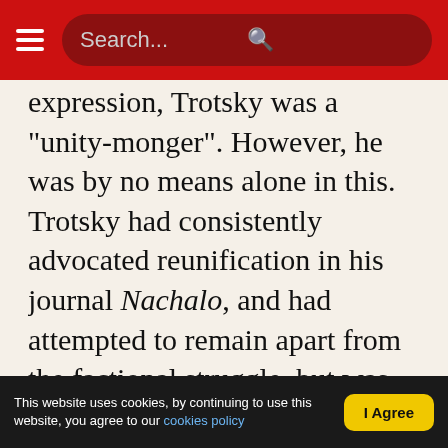Search...
expression, Trotsky was a "unity-monger". However, he was by no means alone in this. Trotsky had consistently advocated reunification in his journal Nachalo, and had attempted to remain apart from the factional struggle, but was arrested and imprisoned for his role in the Soviet before the Fourth (Unity) Congress took place in Stockholm. The progress of the revolution had given a tremendous impulse to the movement for the reunification of the forces of Russian Marxism. Bolshevik and Menshevik workers fought shoulder to shoulder under the same slogans; rival Party committees merged spontaneously. The revolution
This website uses cookies, by continuing to use this website, you agree to our cookies policy  |  I Agree